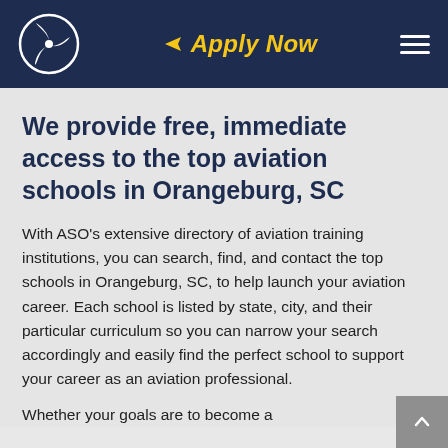Apply Now
We provide free, immediate access to the top aviation schools in Orangeburg, SC
With ASO's extensive directory of aviation training institutions, you can search, find, and contact the top schools in Orangeburg, SC, to help launch your aviation career. Each school is listed by state, city, and their particular curriculum so you can narrow your search accordingly and easily find the perfect school to support your career as an aviation professional.
Whether your goals are to become a